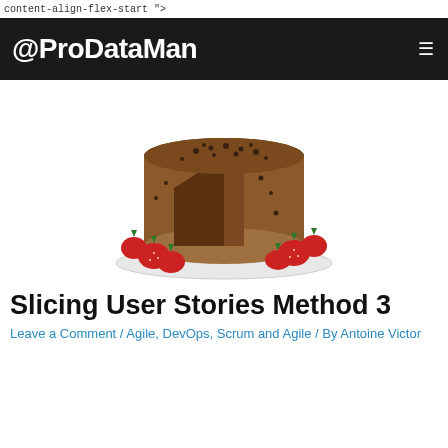content-align-flex-start ">
@ProDataMan
[Figure (photo): A layered chocolate cake with chocolate chip frosting, sliced to show layers, surrounded by fresh strawberries on a white plate]
Slicing User Stories Method 3
Leave a Comment / Agile, DevOps, Scrum and Agile / By Antoine Victor